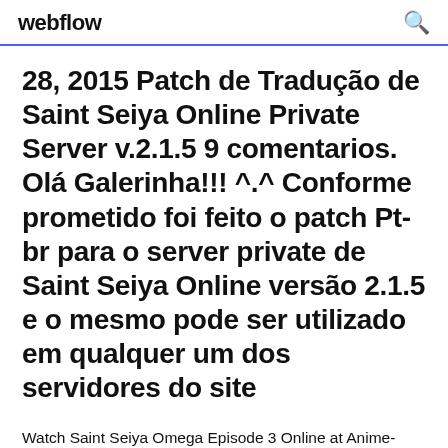webflow
28, 2015 Patch de Tradução de Saint Seiya Online Private Server v.2.1.5 9 comentarios. Olá Galerinha!!! ^.^ Conforme prometido foi feito o patch Pt-br para o server private de Saint Seiya Online versão 2.1.5 e o mesmo pode ser utilizado em qualquer um dos servidores do site
Watch Saint Seiya Omega Episode 3 Online at Anime-Planet. Private fights between Saints are prohibited, one of the many old rules that Koga